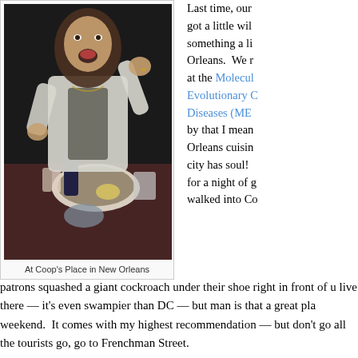[Figure (photo): Person sitting at a restaurant table with food, raising hands, at Coop's Place in New Orleans]
At Coop’s Place in New Orleans
Last time, our got a little wil something a li Orleans. We r at the Molecul Evolutionary C Diseases (ME by that I mean Orleans cuisin city has soul! for a night of g walked into C patrons squashed a giant cockroach under their shoe right in front of u live there — it’s even swampier than DC — but man is that a great pla weekend. It comes with my highest recommendation — but don’t go all the tourists go, go to Frenchman Street.
Alice had never run on trails, never run a race, and never run more tha her about the Potomac Heritage run, she announced enthusiastically s